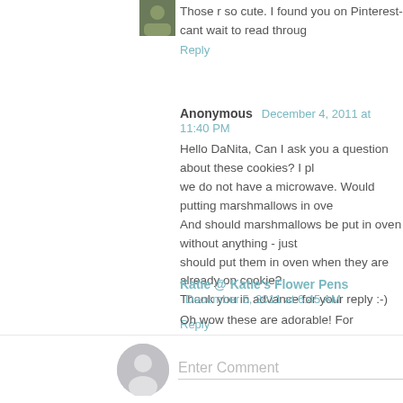Those r so cute. I found you on Pinterest-cant wait to read through
Reply
Anonymous  December 4, 2011 at 11:40 PM
Hello DaNita, Can I ask you a question about these cookies? I ph we do not have a microwave. Would putting marshmallows in ove And should marshmallows be put in oven without anything - just should put them in oven when they are already on cookie? Thank you in advance for your reply :-)
Reply
Katie @ Katie's Flower Pens  December 5, 2011 at 6:45 AM
Oh wow these are adorable! For Halloween this year I made owl as the pupil. I will definitely have to add this to my recipe list.
Reply
Enter Comment